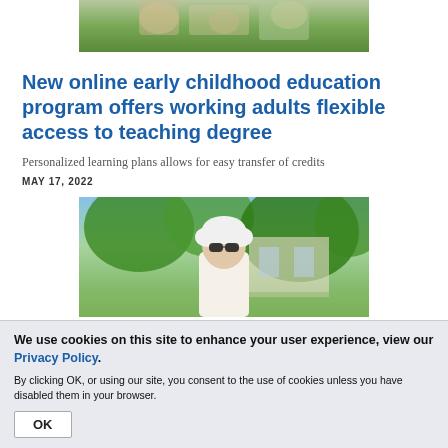[Figure (photo): Top portion of a photo showing children on the ground, partially cropped]
New online early childhood education program offers working adults flexible access to teaching degree
Personalized learning plans allows for easy transfer of credits
MAY 17, 2022
[Figure (photo): Photo of an elderly woman with white hair and sunglasses standing outdoors in front of trees and a building]
We use cookies on this site to enhance your user experience, view our Privacy Policy.
By clicking OK, or using our site, you consent to the use of cookies unless you have disabled them in your browser.
OK